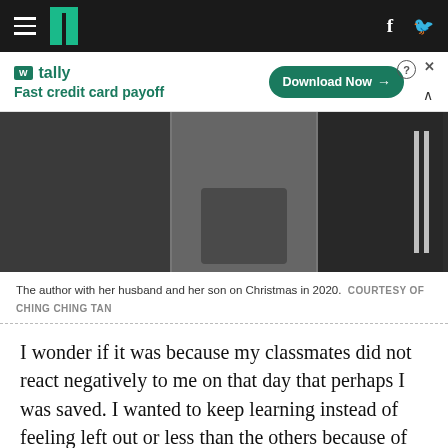HuffPost navigation bar with hamburger menu, logo, Facebook and Twitter icons
[Figure (other): Advertisement banner for Tally app: Fast credit card payoff, with Download Now button]
[Figure (photo): Photo of the author with her husband and her son on Christmas in 2020, three figures seated, one wearing an Adidas jacket with white stripes]
The author with her husband and her son on Christmas in 2020.  COURTESY OF CHING CHING TAN
I wonder if it was because my classmates did not react negatively to me on that day that perhaps I was saved. I wanted to keep learning instead of feeling left out or less than the others because of what I didn't know.